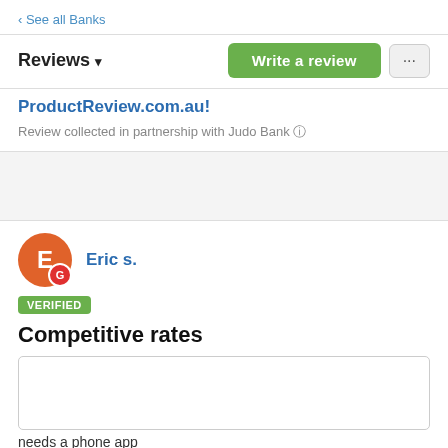‹ See all Banks
Reviews ▾
Write a review
ProductReview.com.au!
Review collected in partnership with Judo Bank ⓘ
Eric s.
VERIFIED
Competitive rates
needs a phone app